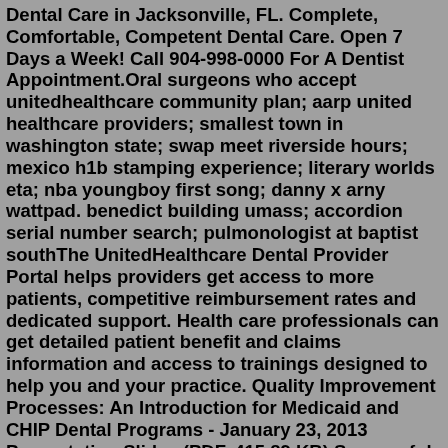Dental Care in Jacksonville, FL. Complete, Comfortable, Competent Dental Care. Open 7 Days a Week! Call 904-998-0000 For A Dentist Appointment.Oral surgeons who accept unitedhealthcare community plan; aarp united healthcare providers; smallest town in washington state; swap meet riverside hours; mexico h1b stamping experience; literary worlds eta; nba youngboy first song; danny x arny wattpad. benedict building umass; accordion serial number search; pulmonologist at baptist southThe UnitedHealthcare Dental Provider Portal helps providers get access to more patients, competitive reimbursement rates and dedicated support. Health care professionals can get detailed patient benefit and claims information and access to trainings designed to help you and your practice. Quality Improvement Processes: An Introduction for Medicaid and CHIP Dental Programs - January 23, 2013 Presentation Slides (PDF, 415.89 KB) Successful Beneficiary Outreach Strategies - September 26, 2012 Presentation Slides